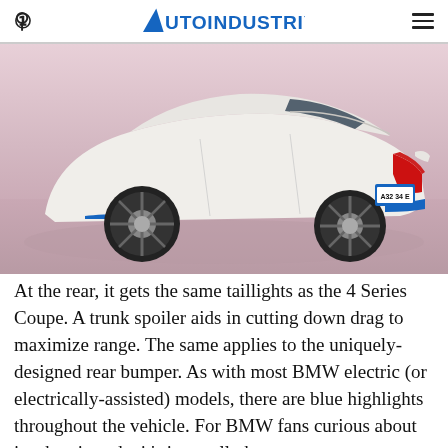AUTOINDUSTRIYA.COM
[Figure (photo): Rear three-quarter view of a white BMW i4 electric sedan on a pinkish-lit studio background, showing rear taillights, black alloy wheels, trunk spoiler, blue bumper accents, and a blue license plate reading A32 34 E.]
At the rear, it gets the same taillights as the 4 Series Coupe. A trunk spoiler aids in cutting down drag to maximize range. The same applies to the uniquely-designed rear bumper. As with most BMW electric (or electrically-assisted) models, there are blue highlights throughout the vehicle. For BMW fans curious about its chassis code, it's internally known as